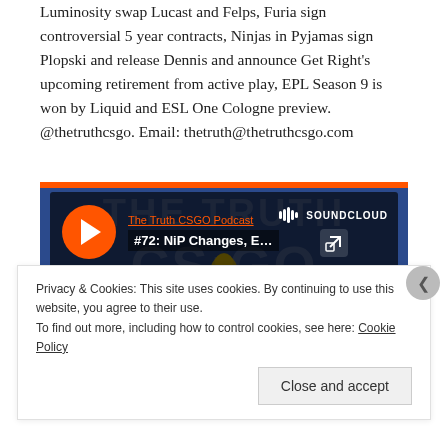Luminosity swap Lucast and Felps, Furia sign controversial 5 year contracts, Ninjas in Pyjamas sign Plopski and release Dennis and announce Get Right's upcoming retirement from active play, EPL Season 9 is won by Liquid and ESL One Cologne preview. @thetruthcsgo. Email: thetruth@thetruthcsgo.com
[Figure (screenshot): SoundCloud embedded podcast player for 'The Truth CSGO Podcast' episode '#72: NiP Changes, EPL ...' with orange play button, dark overlay bar, and CS:GO themed background image.]
Privacy & Cookies: This site uses cookies. By continuing to use this website, you agree to their use. To find out more, including how to control cookies, see here: Cookie Policy
Close and accept